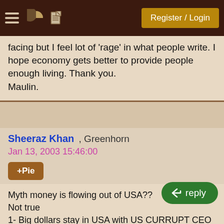Register / Login
facing but I feel lot of 'rage' in what people write. I hope economy gets better to provide people enough living. Thank you.
Maulin.
Sheeraz Khan , Greenhorn
Jan 13, 2003 15:46:00
+Pie
Myth money is flowing out of USA??
Not true
1- Big dollars stay in USA with US CURRUPT CEO
2- The programmer in other countries suffer as well becasue they companies in USA are absuing them.
3- The programmers in USA suffer as well since they may loose they jobs.
There should be a tap on the CEO who make the choices to move the development offices abroad.